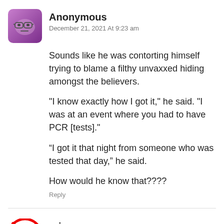[Figure (illustration): Avatar image: purple/pink rounded square with cartoon face wearing glasses, neutral expression]
Anonymous
December 21, 2021 At 9:23 am
Sounds like he was contorting himself trying to blame a filthy unvaxxed hiding amongst the believers.
“I know exactly how I got it,” he said. “I was at an event where you had to have PCR [tests].”
“I got it that night from someone who was tested that day,” he said.
How would he know that????
Reply
[Figure (illustration): Avatar image: red circle with red line through a black club symbol (no clubs / anti-clubs icon)]
eric
December 21, 2021 At 9:37 am
Hi Jim